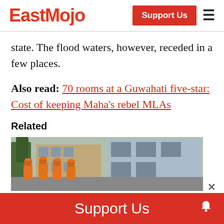EastMojo | Support Us
state. The flood waters, however, receded in a few places.
Also read: 70 rooms at a Guwahati five-star: Cost of keeping Maha's rebel MLAs
Related
[Figure (photo): People in orange uniforms and helmets standing on a street in front of buildings]
Support Us